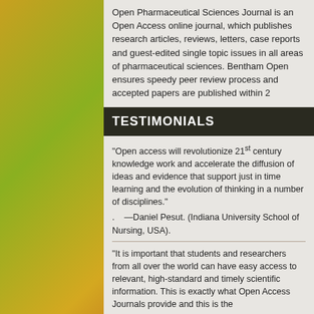Open Pharmaceutical Sciences Journal is an Open Access online journal, which publishes research articles, reviews, letters, case reports and guest-edited single topic issues in all areas of pharmaceutical sciences. Bentham Open ensures speedy peer review process and accepted papers are published within 2
TESTIMONIALS
"Open access will revolutionize 21st century knowledge work and accelerate the diffusion of ideas and evidence that support just in time learning and the evolution of thinking in a number of disciplines."
.    —Daniel Pesut. (Indiana University School of Nursing, USA).
"It is important that students and researchers from all over the world can have easy access to relevant, high-standard and timely scientific information. This is exactly what Open Access Journals provide and this is the
RELATED UPCOMING EVENTS